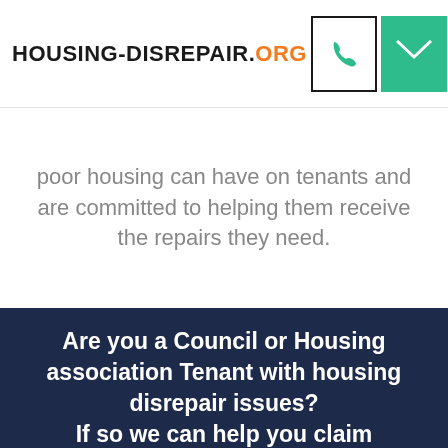HOUSING-DISREPAIR.ORG
poor housing can have on tenants and are committed to helping them receive the repairs they need.
Are you a Council or Housing association Tenant with housing disrepair issues? If so we can help you claim compensation on a NO Win, NO Fee basis.
Instant Claim Calculator